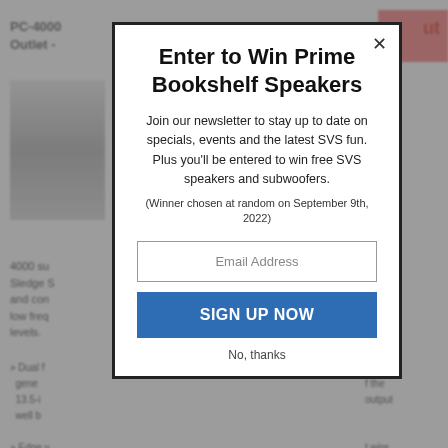PC-4000 Outlet -
[Figure (screenshot): Background blurred product page with product image, body text, and bullet list items partially visible behind modal overlay]
Enter to Win Prime Bookshelf Speakers
Join our newsletter to stay up to date on specials, events and the latest SVS fun. Plus you'll be entered to win free SVS speakers and subwoofers.
(Winner chosen at random on September 9th, 2022)
Email Address
SIGN UP NOW
No, thanks